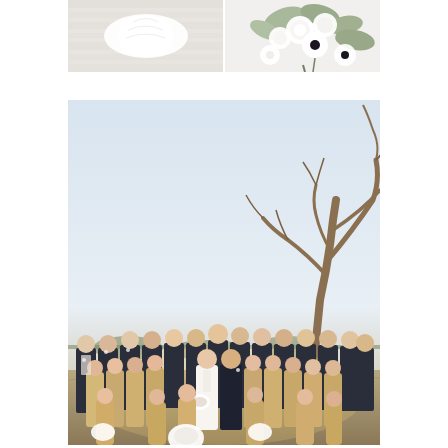[Figure (photo): Two side-by-side wedding detail photos: left shows a white wedding dress laid flat on a light wooden floor; right shows a bridal bouquet with white roses, anemones, and greenery against a white background.]
[Figure (photo): Large wedding party group photo outdoors. A large group of bridesmaids in champagne/blush dresses and groomsmen in dark navy suits surround the bride and groom. They are posed in front of a large bare winter tree with a bright clear sky behind them. Warm golden hour sunlight illuminates the scene with dry grass and shrubs in the background.]